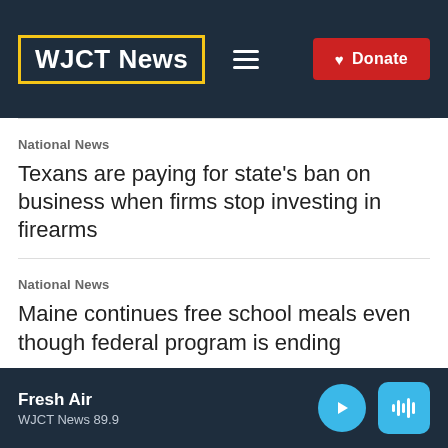WJCT News
National News
Texans are paying for state's ban on business when firms stop investing in firearms
National News
Maine continues free school meals even though federal program is ending
National News
Fans react to what might be Serena Williams'
Fresh Air
WJCT News 89.9